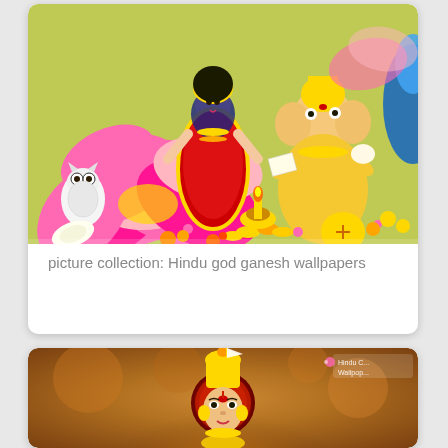[Figure (illustration): Colorful Hindu religious artwork showing Goddess Lakshmi in red saree with lotus flowers on left, Lord Ganesha seated in yellow on right, with an owl, gold coins, lamps, and offerings. Bright pink lotus flowers prominently featured.]
picture collection: Hindu god ganesh wallpapers
[Figure (photo): Hindu deity illustration with golden warm tones, showing a figure with ornate crown and third eye, set against a glowing amber/orange background with blurred light effects. Logo 'Hindu C... Wallpop...' visible in top right corner.]